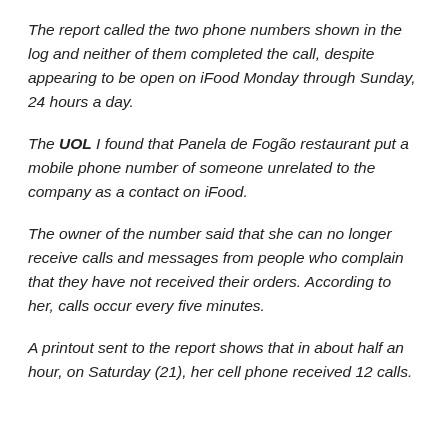The report called the two phone numbers shown in the log and neither of them completed the call, despite appearing to be open on iFood Monday through Sunday, 24 hours a day.
The UOL I found that Panela de Fogão restaurant put a mobile phone number of someone unrelated to the company as a contact on iFood.
The owner of the number said that she can no longer receive calls and messages from people who complain that they have not received their orders. According to her, calls occur every five minutes.
A printout sent to the report shows that in about half an hour, on Saturday (21), her cell phone received 12 calls.